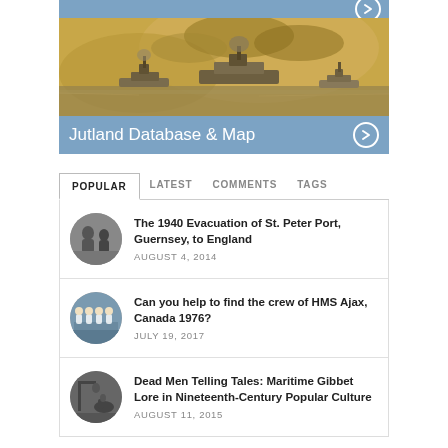[Figure (illustration): Painting of naval warships at sea with smoke, Battle of Jutland style maritime scene in warm sepia/gold tones]
Jutland Database & Map
POPULAR   LATEST   COMMENTS   TAGS
The 1940 Evacuation of St. Peter Port, Guernsey, to England
AUGUST 4, 2014
Can you help to find the crew of HMS Ajax, Canada 1976?
JULY 19, 2017
Dead Men Telling Tales: Maritime Gibbet Lore in Nineteenth-Century Popular Culture
AUGUST 11, 2015